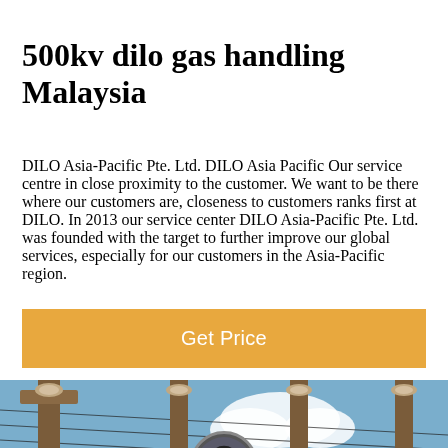500kv dilo gas handling Malaysia
DILO Asia-Pacific Pte. Ltd. DILO Asia Pacific Our service centre in close proximity to the customer. We want to be there where our customers are, closeness to customers ranks first at DILO. In 2013 our service center DILO Asia-Pacific Pte. Ltd. was founded with the target to further improve our global services, especially for our customers in the Asia-Pacific region.
[Figure (other): Orange 'Get Price' button]
[Figure (photo): Photo of electrical power transmission substation insulators/bushings against a blue sky with clouds]
Leave Message   Chat Online